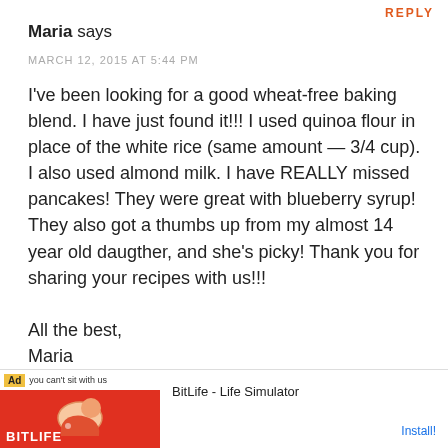REPLY
Maria says
MARCH 12, 2015 AT 5:44 PM
I've been looking for a good wheat-free baking blend. I have just found it!!! I used quinoa flour in place of the white rice (same amount — 3/4 cup). I also used almond milk. I have REALLY missed pancakes! They were great with blueberry syrup! They also got a thumbs up from my almost 14 year old daugther, and she's picky! Thank you for sharing your recipes with us!!!

All the best,
Maria
[Figure (other): Five star rating icons (stars)]
[Figure (other): Advertisement banner for BitLife - Life Simulator app with Install button]